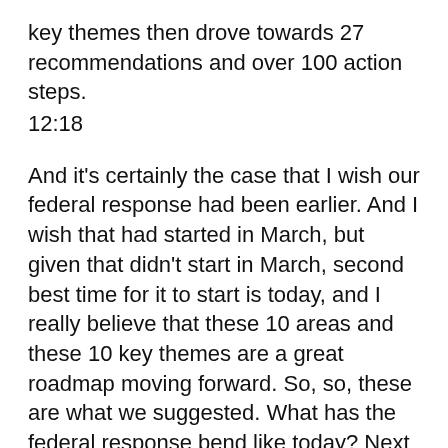key themes then drove towards 27 recommendations and over 100 action steps.
12:18
And it's certainly the case that I wish our federal response had been earlier. And I wish that had started in March, but given that didn't start in March, second best time for it to start is today, and I really believe that these 10 areas and these 10 key themes are a great roadmap moving forward. So, so, these are what we suggested. What has the federal response bend like today? Next slide, please?
12:47
Um, we have seen some attention on nursing homes, as I just asserted, I think it's been a slow response and an adequate response, but there has been a lot of relief funds directed towards nursing